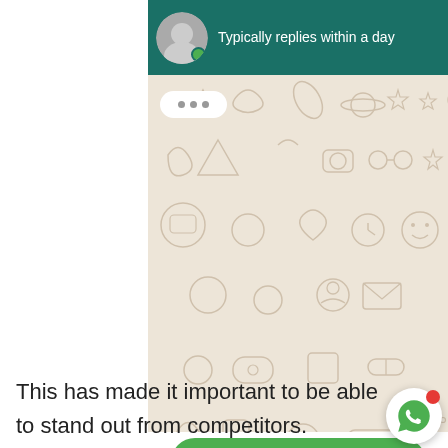Typically replies within a day
[Figure (screenshot): WhatsApp chat window background with doodle pattern and typing indicator bubble (three dots)]
Start Chat
This has made it important to be able to stand out from competitors. Connections Telecoms realised that they wanted to separate themselves from the